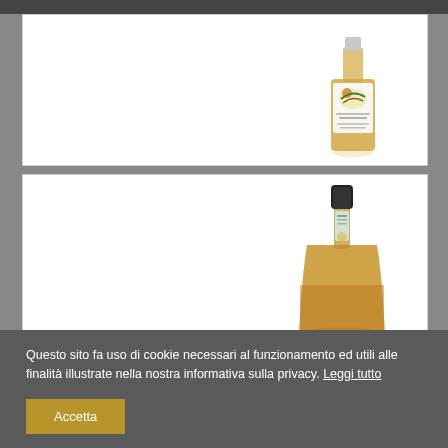[Figure (photo): A whisky bottle with a colorful bird illustration on the label, partially visible, showing top portion. Label reads 'Single Cask' and 'Single Malt Scotch Whisky'.]
[Figure (photo): A whisky bottle with a dark cap and a thin label around the neck, showing the lower portion with amber liquid visible at the base.]
Questo sito fa uso di cookie necessari al funzionamento ed utili alle finalità illustrate nella nostra informativa sulla privacy. Leggi tutto
Accetta